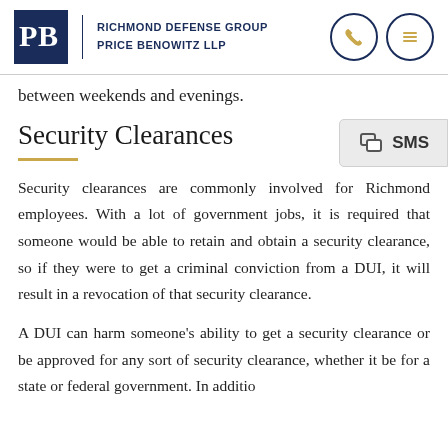Richmond Defense Group Price Benowitz LLP
between weekends and evenings.
Security Clearances
Security clearances are commonly involved for Richmond employees. With a lot of government jobs, it is required that someone would be able to retain and obtain a security clearance, so if they were to get a criminal conviction from a DUI, it will result in a revocation of that security clearance.
A DUI can harm someone's ability to get a security clearance or be approved for any sort of security clearance, whether it be for a state or federal government. In additio